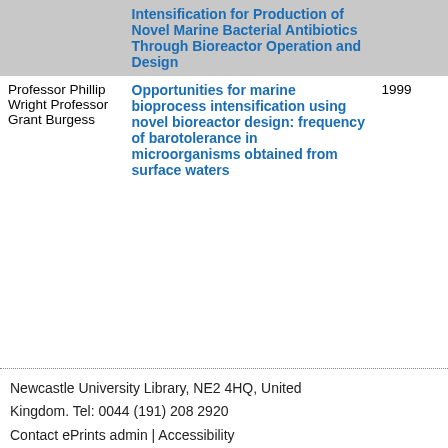| Person | Title | Year |
| --- | --- | --- |
|  | Intensification for Production of Novel Marine Bacterial Antibiotics Through Bioreactor Operation and Design |  |
| Professor Phillip Wright Professor Grant Burgess | Opportunities for marine bioprocess intensification using novel bioreactor design: frequency of barotolerance in microorganisms obtained from surface waters | 1999 |
Newcastle University Library, NE2 4HQ, United Kingdom. Tel: 0044 (191) 208 2920 Contact ePrints admin | Accessibility